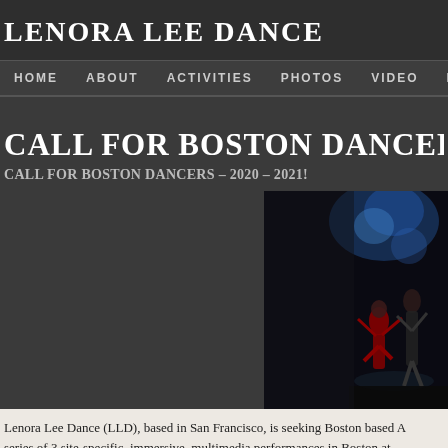LENORA LEE DANCE
HOME   ABOUT   ACTIVITIES   PHOTOS   VIDEO   PRESS   B
CALL FOR BOSTON DANCERS – 2020
CALL FOR BOSTON DANCERS – 2020 – 2021!
[Figure (photo): Dance performance photo showing dancers on a dark stage with blue lighting, performers in red and dark costumes]
Lenora Lee Dance (LLD), based in San Francisco, is seeking Boston based A series of 3 site-specific, immersive, multimedia performances in Boston at